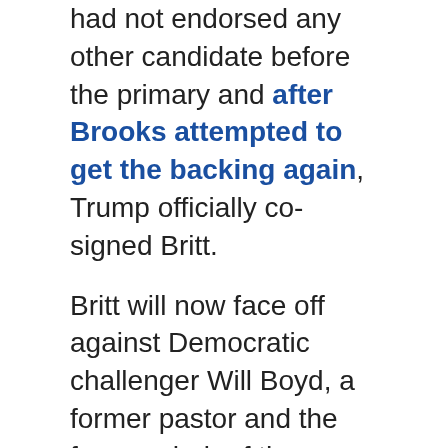had not endorsed any other candidate before the primary and after Brooks attempted to get the backing again, Trump officially co-signed Britt.
Britt will now face off against Democratic challenger Will Boyd, a former pastor and the former chair of the Lauderdale County Democratic Party, in the Nov. 8 general election. Boyd ran away in the Democratic race, netting more than 63% of the total votes cast.
, Katie Britt wins Republican nomination for US Senate , Phil Pinarski , 2022-06-22 01:43:50 , WHNT.com , https://whnt.com/wp-content/uploads/sites/20/2022/06/AP22144855993365w=900 , https://whnt.com/wp-content/uploads/sites/20/2022/06/AP22144855993365w=1280 , [rule_[ruleNumber]]